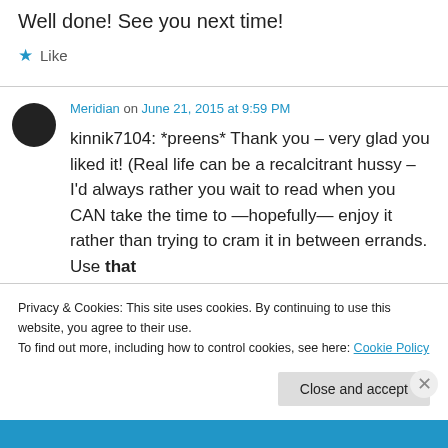Well done! See you next time!
★ Like
Meridian on June 21, 2015 at 9:59 PM
kinnik7104: *preens* Thank you – very glad you liked it! (Real life can be a recalcitrant hussy – I'd always rather you wait to read when you CAN take the time to —hopefully— enjoy it rather than trying to cram it in between errands. Use that time to breathe and not kill people… )
Privacy & Cookies: This site uses cookies. By continuing to use this website, you agree to their use. To find out more, including how to control cookies, see here: Cookie Policy
Close and accept